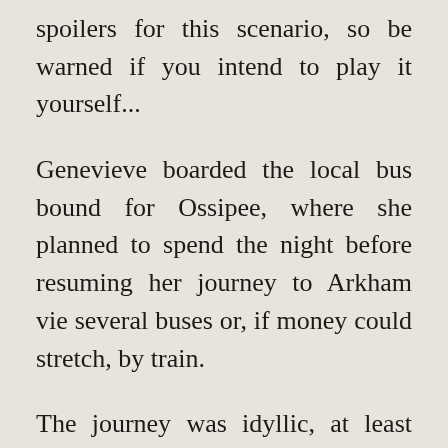spoilers for this scenario, so be warned if you intend to play it yourself...
Genevieve boarded the local bus bound for Ossipee, where she planned to spend the night before resuming her journey to Arkham vie several buses or, if money could stretch, by train.
The journey was idyllic, at least initially, but things got a little shook up as the driver swerved to avoid a tractor and took to the grass. Genevieve proved too dexterous to take a fall and clung on to the seat as they